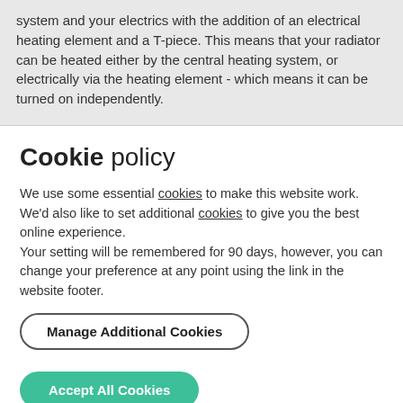system and your electrics with the addition of an electrical heating element and a T-piece. This means that your radiator can be heated either by the central heating system, or electrically via the heating element - which means it can be turned on independently.
Cookie policy
We use some essential cookies to make this website work. We'd also like to set additional cookies to give you the best online experience.
Your setting will be remembered for 90 days, however, you can change your preference at any point using the link in the website footer.
Manage Additional Cookies
Accept All Cookies